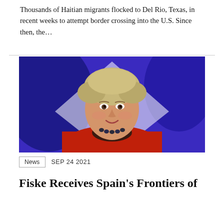Thousands of Haitian migrants flocked to Del Rio, Texas, in recent weeks to attempt border crossing into the U.S. Since then, the...
[Figure (photo): Portrait of an older woman with short gray-blond hair, smiling, wearing a red blazer and dark beaded necklace, against a blue abstract background.]
News  SEP 24 2021
Fiske Receives Spain's Frontiers of Knowledge Award